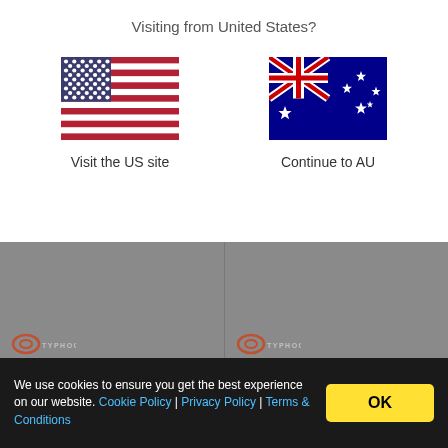Visiting from United States?
[Figure (illustration): US Flag]
Visit the US site
[Figure (illustration): Australian Flag]
Continue to AU
[Figure (photo): Typhoon wetsuit product card with logo, sale price $113.98, original $149.94, product name: Typhoon Mens Storm 3 3/2mm]
[Figure (photo): Typhoon wetsuit product card with logo, sale price $77.50, original $116.45, product name: Typhoon Mens Storm3 3/2mm]
We use cookies to ensure you get the best experience on our website. Cookie Policy | Privacy Policy | Terms & Conditions